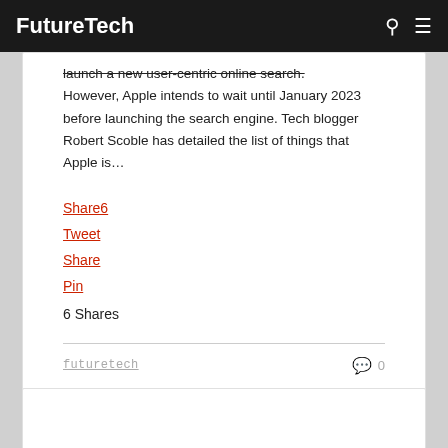FutureTech
launch a new user-centric online search. However, Apple intends to wait until January 2023 before launching the search engine. Tech blogger Robert Scoble has detailed the list of things that Apple is…
Share6
Tweet
Share
Pin
6 Shares
futuretech
0